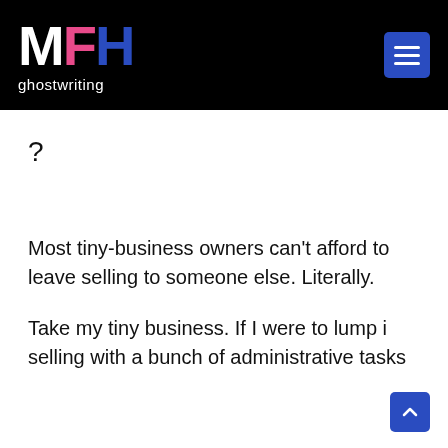MFH ghostwriting
?
Most tiny-business owners can't afford to leave selling to someone else. Literally.
Take my tiny business. If I were to lump it selling with a bunch of administrative tasks